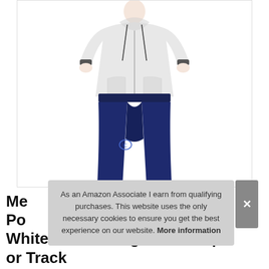[Figure (photo): Man wearing a white Champion zip-up hoodie and navy blue Champion sweatpants, standing with hands in pockets against a white background.]
Me... Po... White-407d55 Logo Warm Up or Track
As an Amazon Associate I earn from qualifying purchases. This website uses the only necessary cookies to ensure you get the best experience on our website. More information